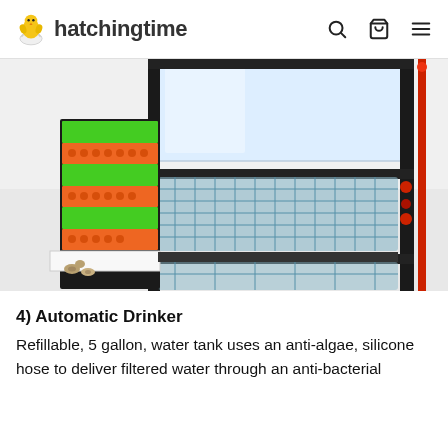hatchingtime
[Figure (photo): A quail cage system with black metal frame, colorful stacked egg trays (orange, yellow, green) on the left side, blue wire mesh cage compartments in the center, a large white water tank on top, and a red and black vertical pole on the right side. Small quail eggs and birds are visible at the bottom left.]
4) Automatic Drinker
Refillable, 5 gallon, water tank uses an anti-algae, silicone hose to deliver filtered water through an anti-bacterial